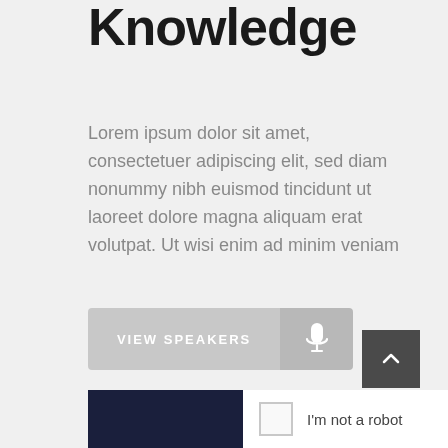Knowledge
Lorem ipsum dolor sit amet, consectetuer adipiscing elit, sed diam nonummy nibh euismod tincidunt ut laoreet dolore magna aliquam erat volutpat. Ut wisi enim ad minim veniam
[Figure (other): Button labeled VIEW SPEAKERS with a microphone icon on the right side]
[Figure (other): Dark upward arrow scroll-to-top button]
[Figure (other): Dark navy rectangle block on the left side at the bottom]
[Figure (other): CAPTCHA widget showing a checkbox and the text I'm not a robot]